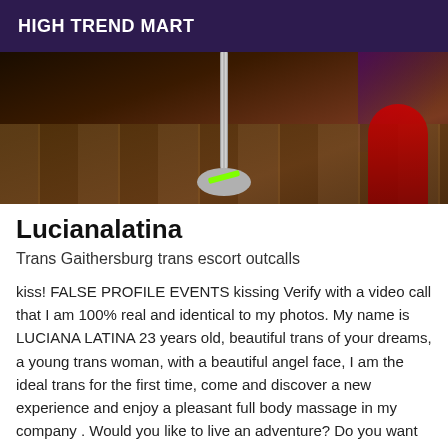HIGH TREND MART
[Figure (photo): Interior photo of a venue with wooden floor boards, a pole with a metallic base and a green element, a red figure/curtain on the right, and purple/dark atmospheric lighting.]
Lucianalatina
Trans Gaithersburg trans escort outcalls
kiss! FALSE PROFILE EVENTS kissing Verify with a video call that I am 100% real and identical to my photos. My name is LUCIANA LATINA 23 years old, beautiful trans of your dreams, a young trans woman, with a beautiful angel face, I am the ideal trans for the first time, come and discover a new experience and enjoy a pleasant full body massage in my company . Would you like to live an adventure? Do you want to experience a strong and intoxicating emotion, live impressive moments...? Then it meets you with a lovely